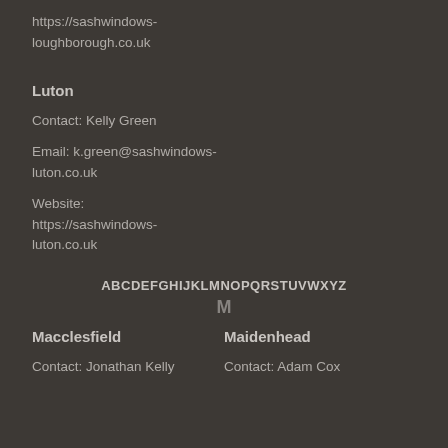https://sashwindows-loughborough.co.uk
Luton
Contact: Kelly Green
Email: k.green@sashwindows-luton.co.uk
Website: https://sashwindows-luton.co.uk
ABCDEFGHIJKLMNOPQRSTUVWXYZ
M
Macclesfield
Maidenhead
Contact: Jonathan Kelly
Contact: Adam Cox